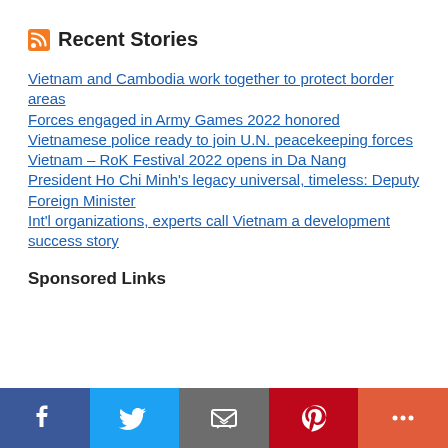Recent Stories
Vietnam and Cambodia work together to protect border areas
Forces engaged in Army Games 2022 honored
Vietnamese police ready to join U.N. peacekeeping forces
Vietnam – RoK Festival 2022 opens in Da Nang
President Ho Chi Minh's legacy universal, timeless: Deputy Foreign Minister
Int'l organizations, experts call Vietnam a development success story
Sponsored Links
[Figure (infographic): Social sharing bar with Facebook, Twitter, Email, Pinterest, and More buttons]